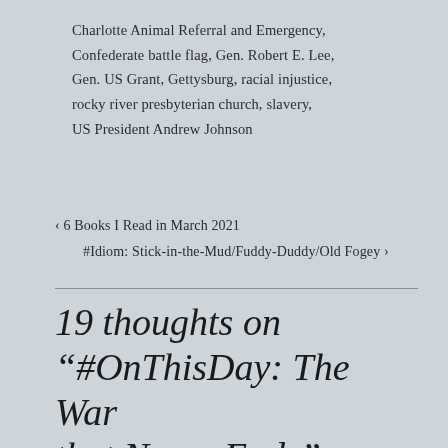Charlotte Animal Referral and Emergency, Confederate battle flag, Gen. Robert E. Lee, Gen. US Grant, Gettysburg, racial injustice, rocky river presbyterian church, slavery, US President Andrew Johnson
‹  6 Books I Read in March 2021
#Idiom: Stick-in-the-Mud/Fuddy-Duddy/Old Fogey  ›
19 thoughts on “#OnThisDay: The War that Never Ends”